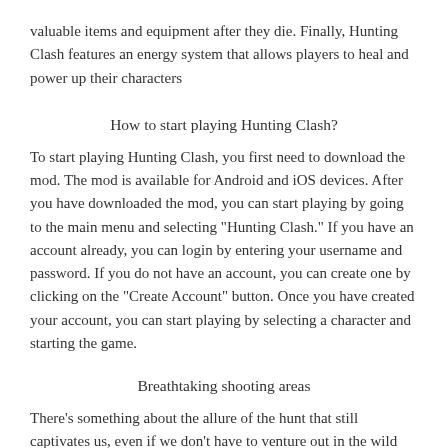valuable items and equipment after they die. Finally, Hunting Clash features an energy system that allows players to heal and power up their characters
How to start playing Hunting Clash?
To start playing Hunting Clash, you first need to download the mod. The mod is available for Android and iOS devices. After you have downloaded the mod, you can start playing by going to the main menu and selecting "Hunting Clash." If you have an account already, you can login by entering your username and password. If you do not have an account, you can create one by clicking on the "Create Account" button. Once you have created your account, you can start playing by selecting a character and starting the game.
Breathtaking shooting areas
There's something about the allure of the hunt that still captivates us, even if we don't have to venture out in the wild ourselves. So if you're looking for an exciting way to kill some time, why not try out one of the hunting-themed games? There are plenty of great options to